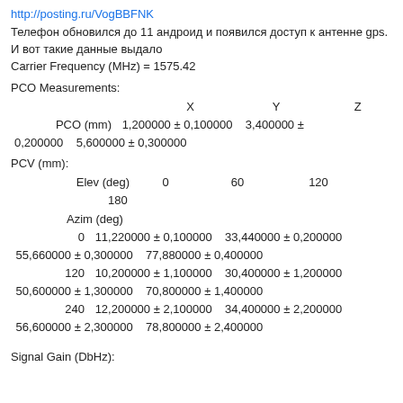http://posting.ru/VogBBFNK
Телефон обновился до 11 андроид и появился доступ к антенне gps. И вот такие данные выдало
Carrier Frequency (MHz) = 1575.42
PCO Measurements:
|  | X | Y | Z |
| --- | --- | --- | --- |
| PCO (mm) | 1,200000 ± 0,100000 | 3,400000 ± 0,200000 | 5,600000 ± 0,300000 |
PCV (mm):
| Elev (deg) | 0 | 60 | 120 | 180 |
| --- | --- | --- | --- | --- |
| Azim (deg) |  |  |  |  |
| 0 | 11,220000 ± 0,100000 | 33,440000 ± 0,200000 | 55,660000 ± 0,300000 | 77,880000 ± 0,400000 |
| 120 | 10,200000 ± 1,100000 | 30,400000 ± 1,200000 | 50,600000 ± 1,300000 | 70,800000 ± 1,400000 |
| 240 | 12,200000 ± 2,100000 | 34,400000 ± 2,200000 | 56,600000 ± 2,300000 | 78,800000 ± 2,400000 |
Signal Gain (DbHz):